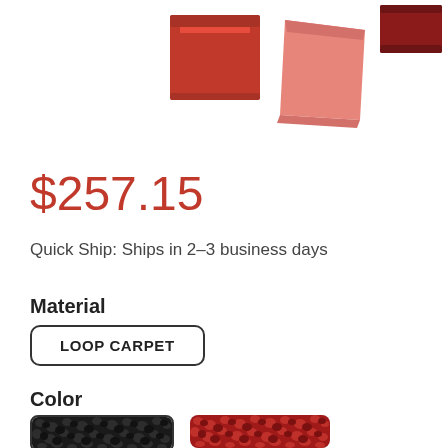[Figure (photo): Product images showing carpet mat pieces in red, pink/salmon, and dark red colors arranged at top of page]
$257.15
Quick Ship: Ships in 2-3 business days
Material
LOOP CARPET
Color
[Figure (photo): Two carpet color swatches: black loop carpet (selected, with border) and red loop carpet]
[Figure (photo): Red loop carpet swatch]